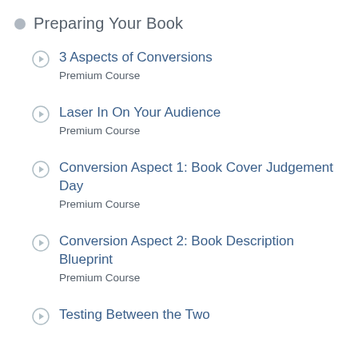Preparing Your Book
3 Aspects of Conversions
Premium Course
Laser In On Your Audience
Premium Course
Conversion Aspect 1: Book Cover Judgement Day
Premium Course
Conversion Aspect 2: Book Description Blueprint
Premium Course
Testing Between the Two